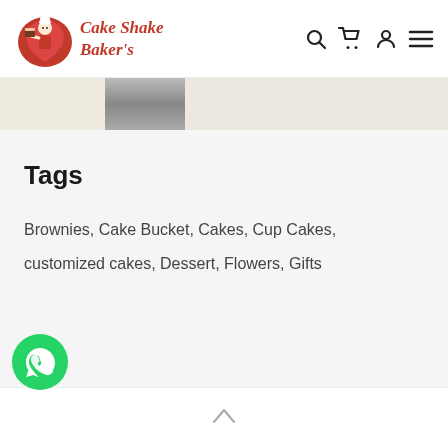Cake Shake Baker's — navigation bar with logo, search, cart, account, menu icons
[Figure (screenshot): Partial banner/hero image strip showing beige and grey gradient tones]
Tags
Brownies, Cake Bucket, Cakes, Cup Cakes, customized cakes, Dessert, Flowers, Gifts
[Figure (logo): WhatsApp green circular button icon in bottom left corner]